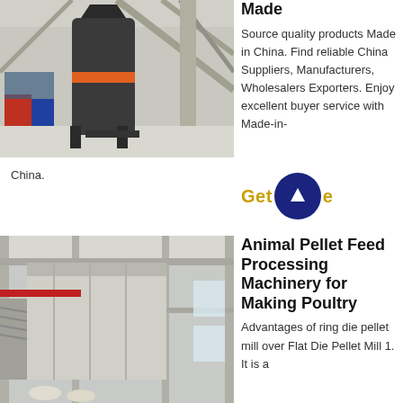[Figure (photo): Industrial machinery in a large factory/warehouse setting, showing a large dark vertical milling or grinding machine with orange/red band, surrounded by metal scaffolding and structural beams.]
Made
Source quality products Made in China. Find reliable China Suppliers, Manufacturers, Wholesalers Exporters. Enjoy excellent buyer service with Made-in-China.
[Figure (other): Get button with dark navy blue circle containing upward arrow icon, with gold/yellow 'Get' text on the left and 'e' text on the right.]
[Figure (photo): Interior of a large industrial building/warehouse with steel frame structure, showing animal feed processing machinery, silos, staircases, and bags on the floor.]
Animal Pellet Feed Processing Machinery for Making Poultry
Advantages of ring die pellet mill over Flat Die Pellet Mill 1. It is a